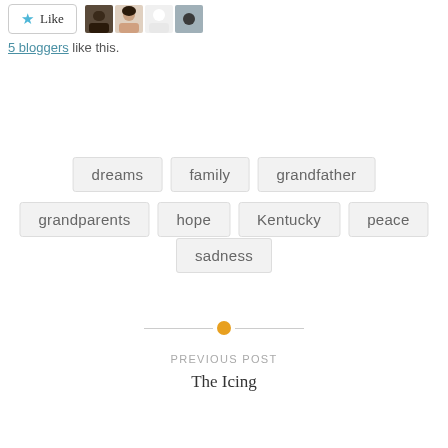[Figure (other): Like button with star icon and four avatar thumbnails of bloggers]
5 bloggers like this.
dreams
family
grandfather
grandparents
hope
Kentucky
peace
sadness
PREVIOUS POST
The Icing